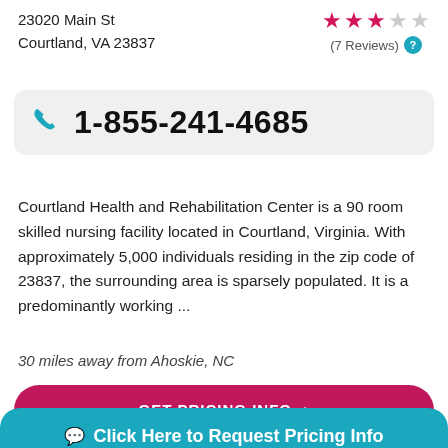23020 Main St
Courtland, VA 23837
★★★☆☆ (7 Reviews)
1-855-241-4685
Courtland Health and Rehabilitation Center is a 90 room skilled nursing facility located in Courtland, Virginia. With approximately 5,000 individuals residing in the zip code of 23837, the surrounding area is sparsely populated. It is a predominantly working ...
30 miles away from Ahoskie, NC
GET PRICING INFO ›
Click Here to Request Pricing Info